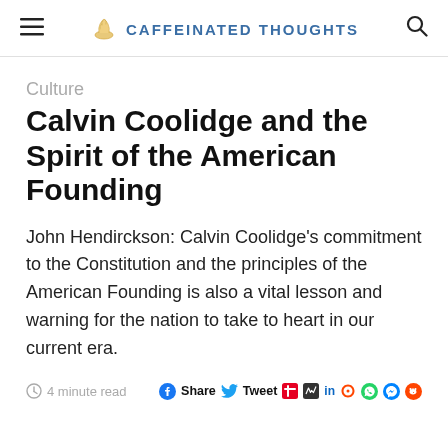CAFFEINATED THOUGHTS
Culture
Calvin Coolidge and the Spirit of the American Founding
John Hendirckson: Calvin Coolidge's commitment to the Constitution and the principles of the American Founding is also a vital lesson and warning for the nation to take to heart in our current era.
4 minute read   Share  Tweet  in  Reddit